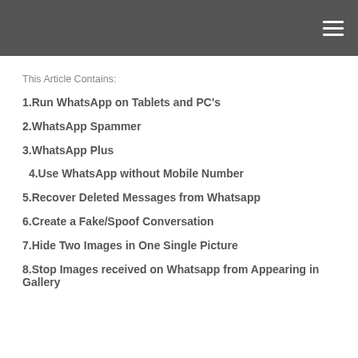This Article Contains:
1.Run WhatsApp on Tablets and PC's
2.WhatsApp Spammer
3.WhatsApp Plus
4.Use WhatsApp without Mobile Number
5.Recover Deleted Messages from Whatsapp
6.Create a Fake/Spoof Conversation
7.Hide Two Images in One Single Picture
8.Stop Images received on Whatsapp from Appearing in Gallery